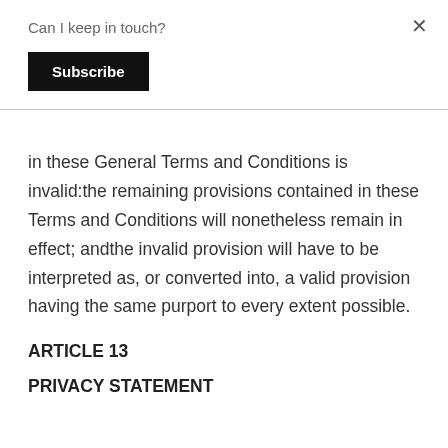Can I keep in touch?
Subscribe
in these General Terms and Conditions is invalid:the remaining provisions contained in these Terms and Conditions will nonetheless remain in effect; andthe invalid provision will have to be interpreted as, or converted into, a valid provision having the same purport to every extent possible.
ARTICLE 13
PRIVACY STATEMENT